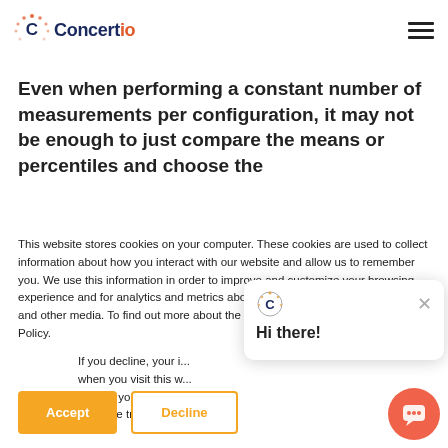[Figure (logo): Concertio logo with circular dots icon and brand name]
Even when performing a constant number of measurements per configuration, it may not be enough to just compare the means or percentiles and choose the
This website stores cookies on your computer. These cookies are used to collect information about how you interact with our website and allow us to remember you. We use this information in order to improve and customize your browsing experience and for analytics and metrics about our visitors both on this website and other media. To find out more about the cookies we use, see our Privacy Policy.
If you decline, your i... when you visit this w... used in your browse... not to be tracked.